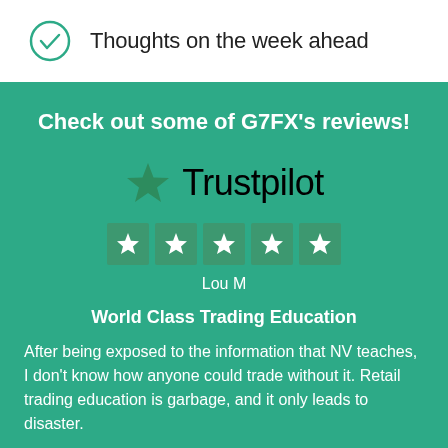Thoughts on the week ahead
Check out some of G7FX's reviews!
[Figure (logo): Trustpilot logo with green star icon and black 'Trustpilot' text]
[Figure (other): Five white stars on green background rating boxes]
Lou M
World Class Trading Education
After being exposed to the information that NV teaches, I don't know how anyone could trade without it. Retail trading education is garbage, and it only leads to disaster.